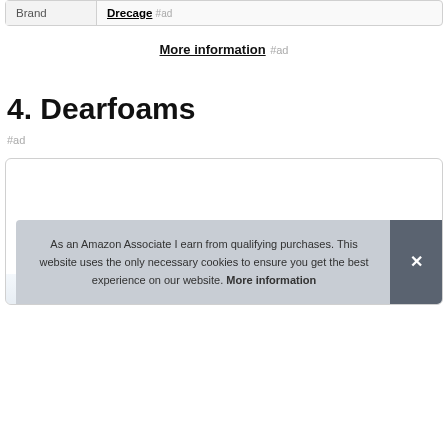| Brand |  |
| --- | --- |
| Brand | Drecage #ad |
More information #ad
4. Dearfoams
#ad
[Figure (screenshot): Product card area with partial image at bottom]
As an Amazon Associate I earn from qualifying purchases. This website uses the only necessary cookies to ensure you get the best experience on our website. More information